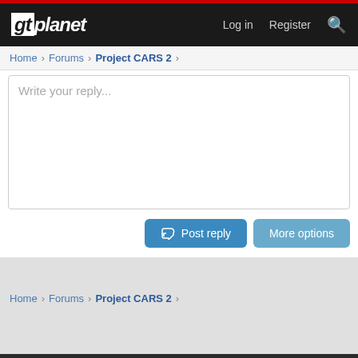gtplanet | Log in  Register
Home > Forums > Project CARS 2 >
Write your reply...
Post reply   More options
Home > Forums > Project CARS 2 >
AEROPOSTALE
Shop Aeropostale for Guys and Girls Clothing
www.aeropostale.com